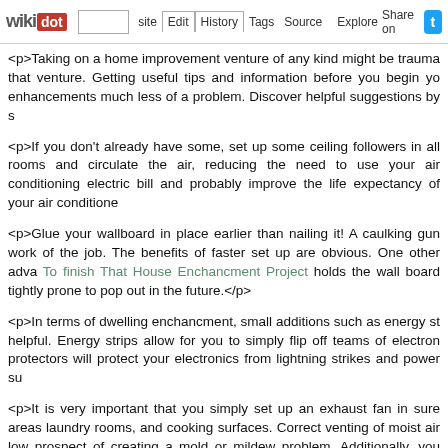wikidot | site | Edit | History | Tags | Source | Explore | Share on [Twitter]
<p>Taking on a home improvement venture of any kind might be trauma that venture. Getting useful tips and information before you begin yo enhancements much less of a problem. Discover helpful suggestions by s
<p>If you don't already have some, set up some ceiling followers in all rooms and circulate the air, reducing the need to use your air conditioning electric bill and probably improve the life expectancy of your air conditione
<p>Glue your wallboard in place earlier than nailing it! A caulking gun work of the job. The benefits of faster set up are obvious. One other adva To finish That House Enchancment Project holds the wall board tightly prone to pop out in the future.</p>
<p>In terms of dwelling enchancment, small additions such as energy st helpful. Energy strips allow for you to simply flip off teams of electron protectors will protect your electronics from lightning strikes and power su
<p>It is very important that you simply set up an exhaust fan in sure areas laundry rooms, and cooking surfaces. Correct venting of moist air low prospect of creating a mold or mildew problem. Additionally, you possibly inside walls, thus preventing rot.</p>
<p>By no means underestimate the essential of a top quality door. Other is the very first thing and then the very last factor that folks will notice a misinstalled door. A ratty door frame or jiggly lock compromises residence
<p>Whenever you paint inside rooms during a home enchancment miss new. Newer houses are often constructed with extraordinarily efficien interior and exterior. Whereas this is an advantage for you as a homeow